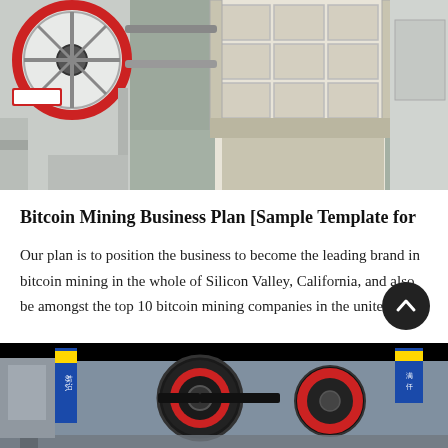[Figure (photo): Industrial mining/crushing machinery in a factory setting, showing large beige metal frames with grid compartments and a red flywheel on the left side.]
Bitcoin Mining Business Plan [Sample Template for
Our plan is to position the business to become the leading brand in bitcoin mining in the whole of Silicon Valley, California, and also be amongst the top 10 bitcoin mining companies in the united sta…
[Figure (photo): Industrial machinery in a factory with blue signage, showing large belts/pulleys and industrial equipment.]